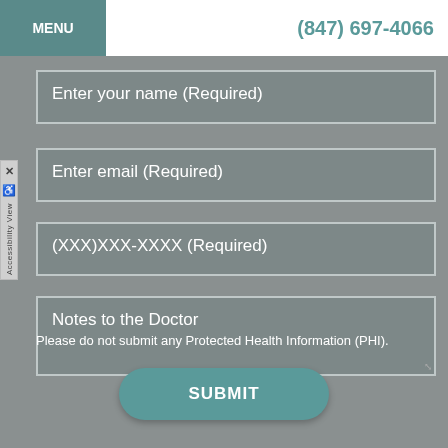MENU | (847) 697-4066
Enter your name (Required)
Enter email (Required)
(XXX)XXX-XXXX (Required)
Notes to the Doctor
Please do not submit any Protected Health Information (PHI).
SUBMIT